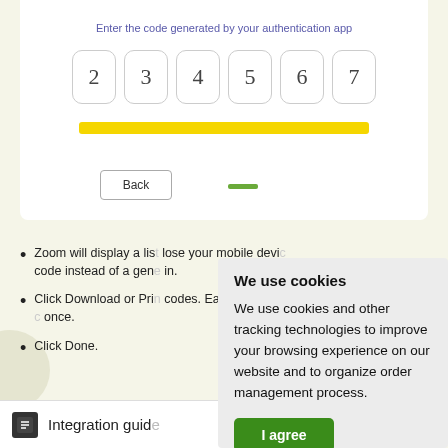Enter the code generated by your authentication app
[Figure (screenshot): Six rounded input boxes showing digits 2, 3, 4, 5, 6, 7 for authentication code entry, with a yellow progress bar below]
Back
We use cookies
We use cookies and other tracking technologies to improve your browsing experience on our website and to organize order management process.
I agree
Change preferences
Zoom will display a list… lose your mobile devi… code instead of a gen… in.
Click Download or Pri… codes. Each recovery … once.
Click Done.
Integration guide